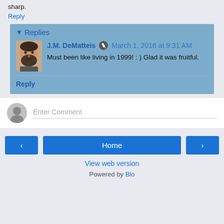sharp.
Reply
Replies
J.M. DeMatteis   March 1, 2016 at 9:31 AM
Must been like living in 1999! : ) Glad it was fruitful.
Reply
Enter Comment
Home
View web version
Powered by Blogger